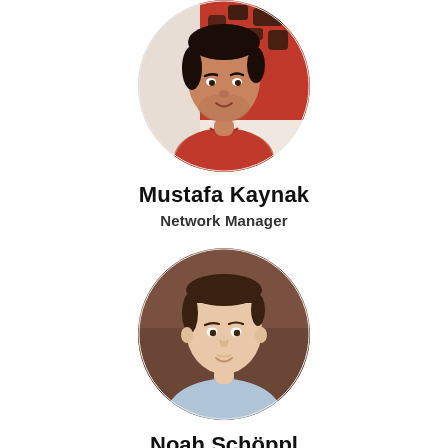[Figure (photo): Circular portrait photo of Mustafa Kaynak, a man wearing a red sweater, with a red patterned artwork visible in the background.]
Mustafa Kaynak
Network Manager
[Figure (photo): Circular portrait photo of Noah Schöppl, a young man with short dark hair wearing a light blue shirt, warm brown toned background.]
Noah Schöppl